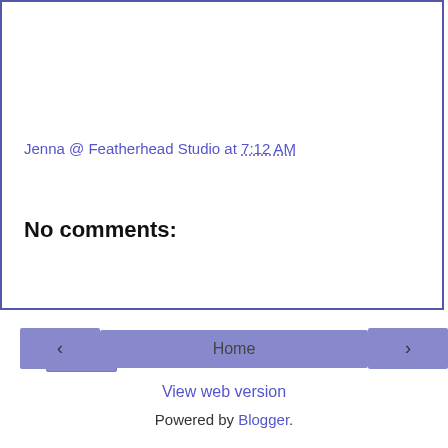Jenna @ Featherhead Studio at 7:12 AM
Share
No comments:
Post a Comment
‹
Home
›
View web version
Powered by Blogger.